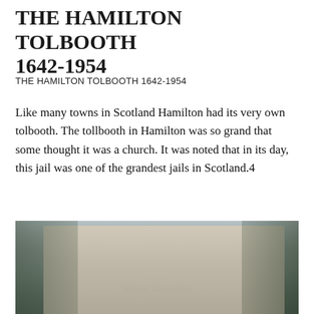THE HAMILTON TOLBOOTH 1642-1954
THE HAMILTON TOLBOOTH 1642-1954
Like many towns in Scotland Hamilton had its very own tolbooth. The tollbooth in Hamilton was so grand that some thought it was a church. It was noted that in its day, this jail was one of the grandest jails in Scotland.4
[Figure (photo): Sepia historical photograph of the Hamilton Tolbooth building, a grand stone structure with trees surrounding it. A watermark reading 'Histor... Hamilton' is visible across the image. People and a bicycle are visible in the foreground.]